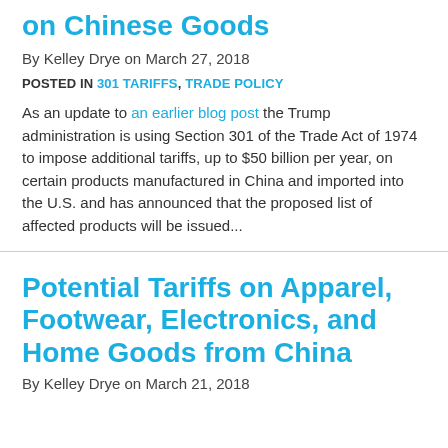on Chinese Goods
By Kelley Drye on March 27, 2018
POSTED IN 301 TARIFFS, TRADE POLICY
As an update to an earlier blog post the Trump administration is using Section 301 of the Trade Act of 1974 to impose additional tariffs, up to $50 billion per year, on certain products manufactured in China and imported into the U.S. and has announced that the proposed list of affected products will be issued...
Potential Tariffs on Apparel, Footwear, Electronics, and Home Goods from China
By Kelley Drye on March 21, 2018